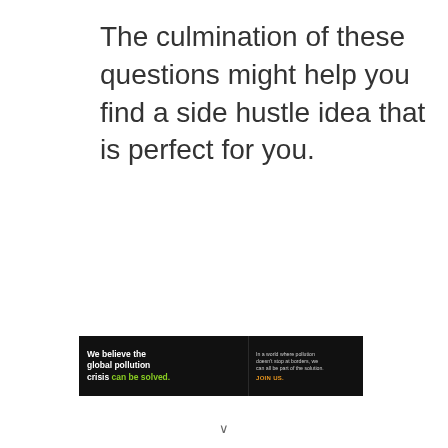The culmination of these questions might help you find a side hustle idea that is perfect for you.
[Figure (other): Advertisement banner for Pure Earth organization. Black background on left side with white bold text reading 'We believe the global pollution crisis can be solved.' with 'can be solved.' in green. Middle section with smaller white text 'In a world where pollution doesn't stop at borders, we can all be part of the solution.' and orange text 'JOIN US.' Right side has white background with Pure Earth diamond/chevron logo in orange/gold and green, and bold black text 'PURE EARTH'.]